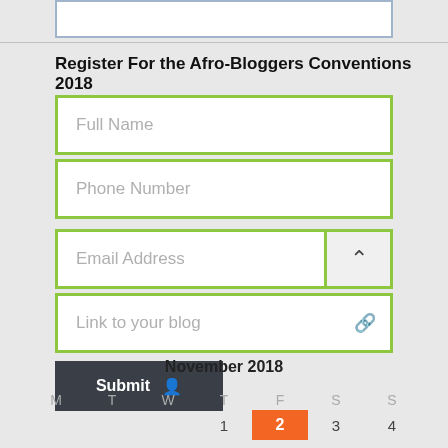[Figure (screenshot): Partial white input box at top of page, cut off]
Register For the Afro-Bloggers Conventions 2018
[Figure (screenshot): Form with fields: Full Name, Phone Number, Email Address, Link to your blog, and a Submit button]
November 2018
| M | T | W | T | F | S | S |
| --- | --- | --- | --- | --- | --- | --- |
|  |  |  |  |  |  |  |
|  |  |  | 1 | 2 | 3 | 4 |